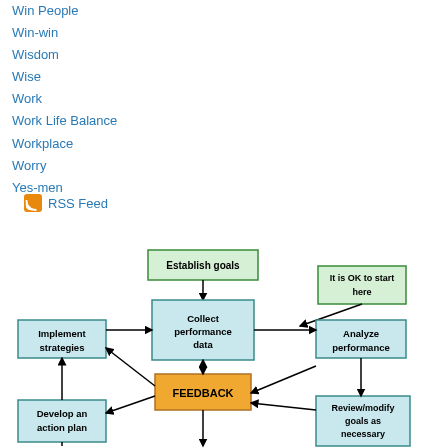Win People
Win-win
Wisdom
Wise
Work
Work Life Balance
Workplace
Worry
Yes-men
RSS Feed
[Figure (flowchart): Performance management feedback cycle flowchart. Boxes: Establish goals (top center, green border), It is OK to start here (top right, green border), Collect performance data (center, blue), Analyze performance (right, blue), Review/modify goals as necessary (bottom right, blue), FEEDBACK (center orange), Implement strategies (left, blue), Develop an action plan (bottom left, blue). Arrows connect all boxes in a cycle with FEEDBACK in the center connected to all surrounding boxes.]